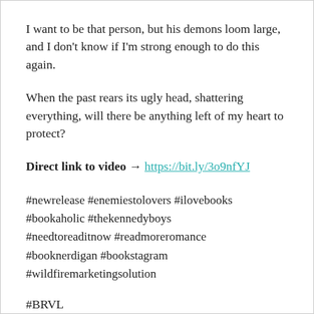I want to be that person, but his demons loom large, and I don’t know if I’m strong enough to do this again.
When the past rears its ugly head, shattering everything, will there be anything left of my heart to protect?
Direct link to video → https://bit.ly/3o9nfYJ
#newrelease #enemiestolovers #ilovebooks #bookaholic #thekennedyboys #needtoreaditnow #readmoreromance #booknerdigan #bookstagram #wildfiremarketingsolution
#BRVL